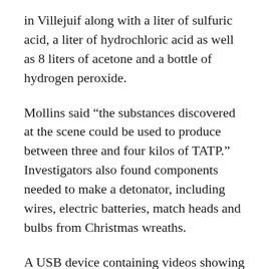in Villejuif along with a liter of sulfuric acid, a liter of hydrochloric acid as well as 8 liters of acetone and a bottle of hydrogen peroxide.
Mollins said “the substances discovered at the scene could be used to produce between three and four kilos of TATP.” Investigators also found components needed to make a detonator, including wires, electric batteries, match heads and bulbs from Christmas wreaths.
A USB device containing videos showing a series of explosives tests on the terrace of the Villejuif apartment raided by the police was also found at the scene. Islamic State propaganda